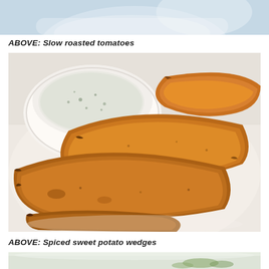[Figure (photo): Top portion of a food photo, partially cropped, showing a white plate or bowl with blue-grey background — slow roasted tomatoes image cropped at top of page]
ABOVE: Slow roasted tomatoes
[Figure (photo): Photo of spiced sweet potato wedges arranged on a white plate with a white bowl of dipping sauce (herb yogurt or sour cream dip) in the background. The wedges are golden-brown and crispy.]
ABOVE: Spiced sweet potato wedges
[Figure (photo): Bottom portion of another food photo, partially cropped, showing what appears to be a dish with green vegetables on a white plate]